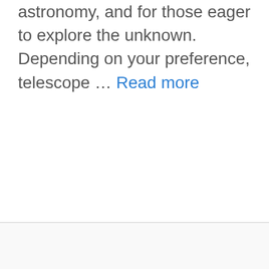astronomy, and for those eager to explore the unknown. Depending on your preference, telescope … Read more
[Figure (other): Close button (X in circle) in the bottom-right corner of an advertisement area, below a horizontal divider line]